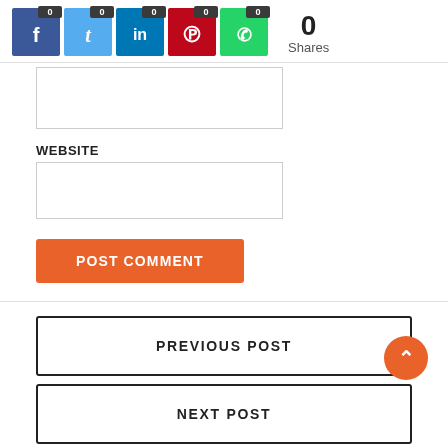[Figure (infographic): Social share buttons: Facebook, Twitter, LinkedIn, Pinterest, WhatsApp each showing count 0, plus total Shares count of 0]
[Figure (infographic): Text input box (partially visible)]
WEBSITE
[Figure (infographic): Website input text box]
POST COMMENT
PREVIOUS POST
NEXT POST